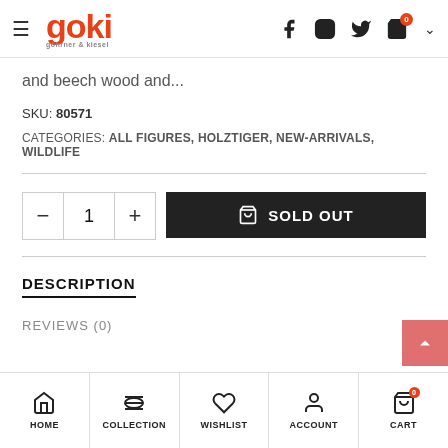goki — navigation header with hamburger menu, logo, social icons, cart
and beech wood and...
SKU: 80571
CATEGORIES: ALL FIGURES, HOLZTIGER, NEW-ARRIVALS, WILDLIFE
[Figure (screenshot): Quantity selector with minus, 1, plus buttons and a black SOLD OUT button with shopping bag icon]
DESCRIPTION
REVIEWS (0)
HOME | COLLECTION | WISHLIST | ACCOUNT | CART